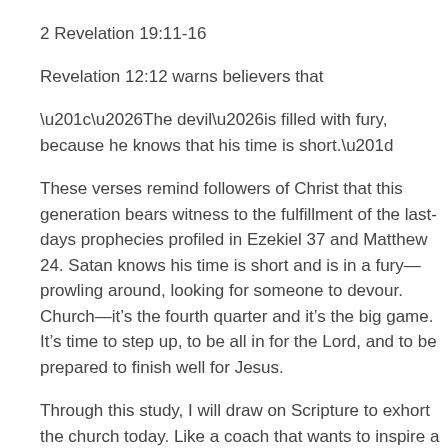2 Revelation 19:11-16
Revelation 12:12 warns believers that
“…The devil…is filled with fury, because he knows that his time is short.”
These verses remind followers of Christ that this generation bears witness to the fulfillment of the last-days prophecies profiled in Ezekiel 37 and Matthew 24. Satan knows his time is short and is in a fury—prowling around, looking for someone to devour. Church—it’s the fourth quarter and it’s the big game. It’s time to step up, to be all in for the Lord, and to be prepared to finish well for Jesus.
Through this study, I will draw on Scripture to exhort the church today. Like a coach that wants to inspire a good